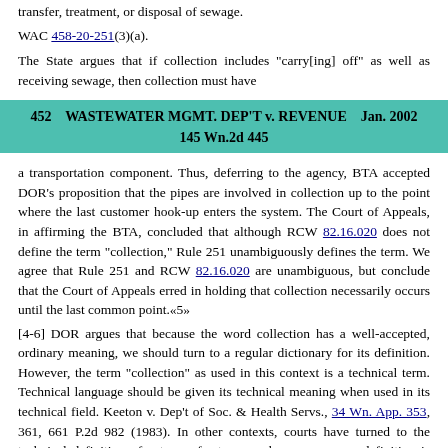transfer, treatment, or disposal of sewage.
WAC 458-20-251(3)(a).
The State argues that if collection includes "carry[ing] off" as well as receiving sewage, then collection must have
452    WASTEWATER MGMT. DEP'T v. REVENUE    Jan. 2002
145 Wn.2d 445
a transportation component. Thus, deferring to the agency, BTA accepted DOR's proposition that the pipes are involved in collection up to the point where the last customer hook-up enters the system. The Court of Appeals, in affirming the BTA, concluded that although RCW 82.16.020 does not define the term "collection," Rule 251 unambiguously defines the term. We agree that Rule 251 and RCW 82.16.020 are unambiguous, but conclude that the Court of Appeals erred in holding that collection necessarily occurs until the last common point.«5»
[4-6] DOR argues that because the word collection has a well-accepted, ordinary meaning, we should turn to a regular dictionary for its definition. However, the term "collection" as used in this context is a technical term. Technical language should be given its technical meaning when used in its technical field. Keeton v. Dep't of Soc. & Health Servs., 34 Wn. App. 353, 361, 661 P.2d 982 (1983). In other contexts, courts have turned to the technical definition of a term of art even where a common definition is available. See, e.g., Hickle v. Whitney Farms, Inc., 107 Wn. App.